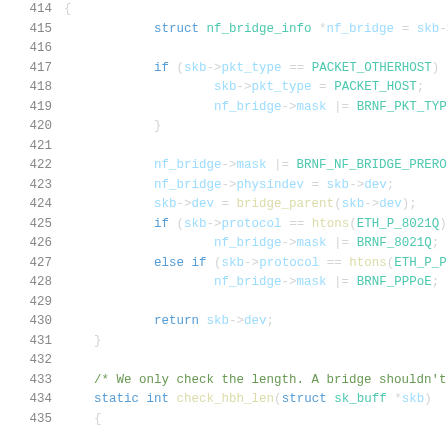Source code listing showing C kernel networking code, lines 414-435, involving nf_bridge_info structure, packet type checks, bridge parent assignment, protocol checks for ETH_P_8021Q and ETH_P_PPPoE, and check_hbh_len function declaration.